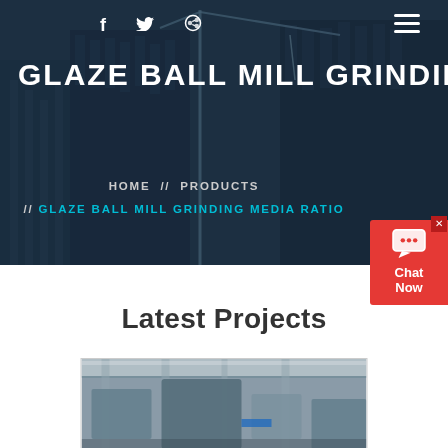GLAZE BALL MILL GRINDING ME
HOME // PRODUCTS // GLAZE BALL MILL GRINDING MEDIA RATIO
Latest Projects
[Figure (photo): Industrial construction or mining equipment photo, partially visible at bottom of page]